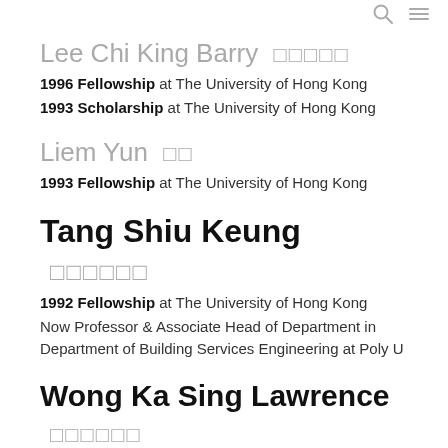Search and Menu icons
Lee Chi King Barry  □□□□□
1996 Fellowship at The University of Hong Kong
1993 Scholarship at The University of Hong Kong
Liem Yun  □□
1993 Fellowship at The University of Hong Kong
Tang Shiu Keung  □□□□□□
1992 Fellowship at The University of Hong Kong
Now Professor & Associate Head of Department in Department of Building Services Engineering at Poly U
Wong Ka Sing Lawrence  □□□□□□
2011 Senior Medical Research Fellowship at Chinese University of Hong Kong